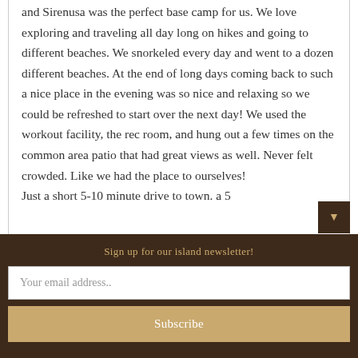and Sirenusa was the perfect base camp for us. We love exploring and traveling all day long on hikes and going to different beaches. We snorkeled every day and went to a dozen different beaches. At the end of long days coming back to such a nice place in the evening was so nice and relaxing so we could be refreshed to start over the next day! We used the workout facility, the rec room, and hung out a few times on the common area patio that had great views as well. Never felt crowded. Like we had the place to ourselves!
Just a short 5-10 minute drive to town. a 5
Sign up for our island newsletter!
Your email address..
Subscribe